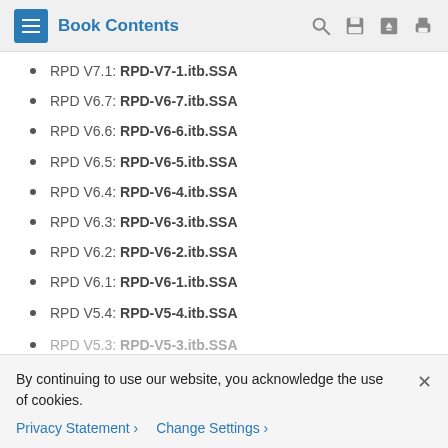Book Contents
RPD V7.1: RPD-V7-1.itb.SSA
RPD V6.7: RPD-V6-7.itb.SSA
RPD V6.6: RPD-V6-6.itb.SSA
RPD V6.5: RPD-V6-5.itb.SSA
RPD V6.4: RPD-V6-4.itb.SSA
RPD V6.3: RPD-V6-3.itb.SSA
RPD V6.2: RPD-V6-2.itb.SSA
RPD V6.1: RPD-V6-1.itb.SSA
RPD V5.4: RPD-V5-4.itb.SSA
RPD V5... RPD-V5-...itb.SSA (truncated)
By continuing to use our website, you acknowledge the use of cookies.
Privacy Statement > Change Settings >